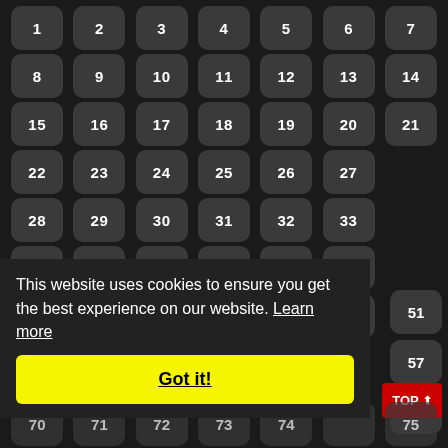[Figure (screenshot): A dark-themed webpage showing a numbered grid of rounded rectangle buttons (numbers 1-75+), a cookie consent banner with 'Got it!' button, and a red 'TOP' navigation button.]
This website uses cookies to ensure you get the best experience on our website. Learn more
Got it!
TOP ⬆